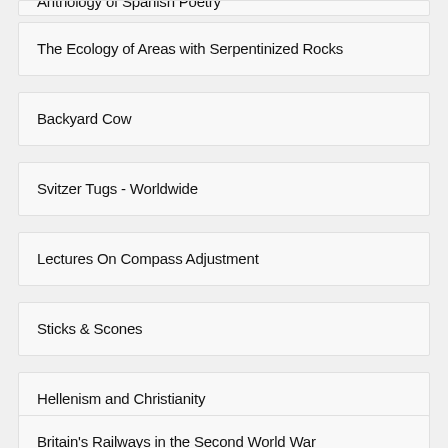Anthology of Spanish Poetry
The Ecology of Areas with Serpentinized Rocks
Backyard Cow
Svitzer Tugs - Worldwide
Lectures On Compass Adjustment
Sticks & Scones
Hellenism and Christianity
Britain's Railways in the Second World War